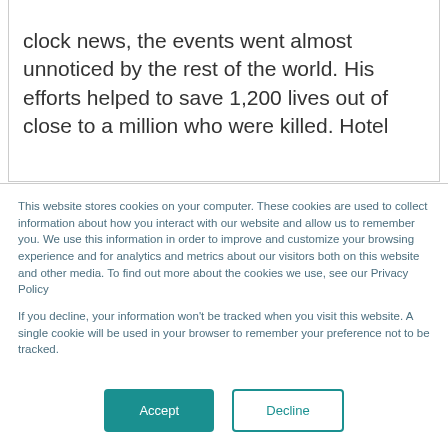clock news, the events went almost unnoticed by the rest of the world. His efforts helped to save 1,200 lives out of close to a million who were killed. Hotel
This website stores cookies on your computer. These cookies are used to collect information about how you interact with our website and allow us to remember you. We use this information in order to improve and customize your browsing experience and for analytics and metrics about our visitors both on this website and other media. To find out more about the cookies we use, see our Privacy Policy
If you decline, your information won't be tracked when you visit this website. A single cookie will be used in your browser to remember your preference not to be tracked.